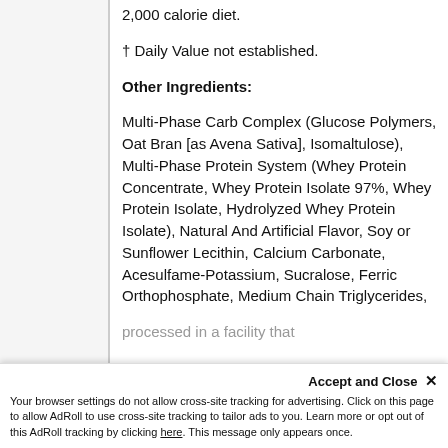2,000 calorie diet.
† Daily Value not established.
Other Ingredients:
Multi-Phase Carb Complex (Glucose Polymers, Oat Bran [as Avena Sativa], Isomaltulose), Multi-Phase Protein System (Whey Protein Concentrate, Whey Protein Isolate 97%, Whey Protein Isolate, Hydrolyzed Whey Protein Isolate), Natural And Artificial Flavor, Soy or Sunflower Lecithin, Calcium Carbonate, Acesulfame-Potassium, Sucralose, Ferric Orthophosphate, Medium Chain Triglycerides,
processed in a facility that
Accept and Close ✕
Your browser settings do not allow cross-site tracking for advertising. Click on this page to allow AdRoll to use cross-site tracking to tailor ads to you. Learn more or opt out of this AdRoll tracking by clicking here. This message only appears once.